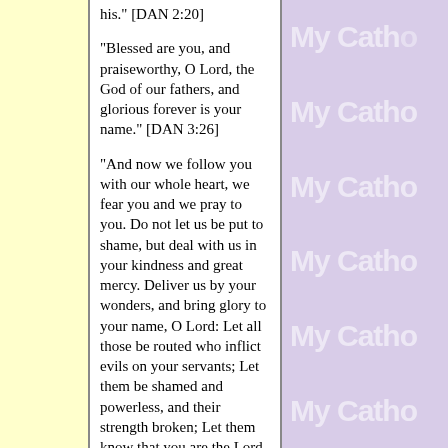his." [DAN 2:20]
"Blessed are you, and praiseworthy, O Lord, the God of our fathers, and glorious forever is your name." [DAN 3:26]
"And now we follow you with our whole heart, we fear you and we pray to you. Do not let us be put to shame, but deal with us in your kindness and great mercy. Deliver us by your wonders, and bring glory to your name, O Lord: Let all those be routed who inflict evils on your servants; Let them be shamed and powerless, and their strength broken; Let them know that you are the Lord God, glorious over